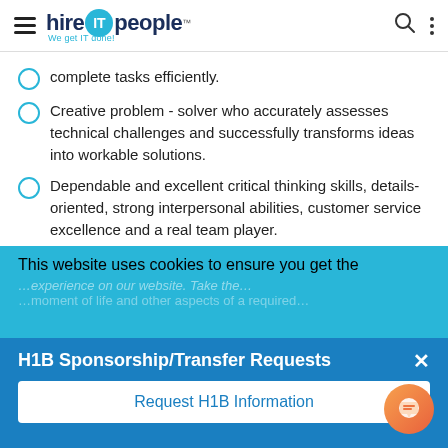hire IT people — We get IT done!
complete tasks efficiently.
Creative problem - solver who accurately assesses technical challenges and successfully transforms ideas into workable solutions.
Dependable and excellent critical thinking skills, details-oriented, strong interpersonal abilities, customer service excellence and a real team player.
Excellent communication and project planning skills, highly organized, ability to complete high level projects with little supervision.
This website uses cookies to ensure you get the
H1B Sponsorship/Transfer Requests
Request H1B Information